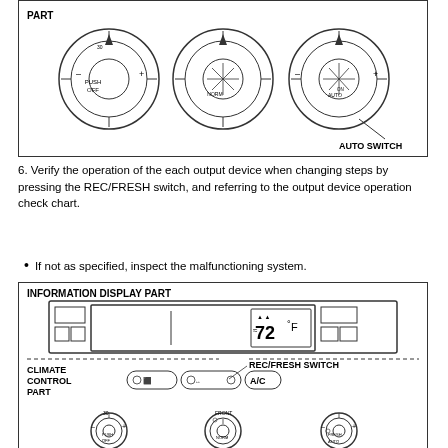[Figure (engineering-diagram): Three rotary control knobs labeled PART with AUTO SWITCH indicator on the rightmost knob, shown in a bordered box]
6. Verify the operation of the each output device when changing steps by pressing the REC/FRESH switch, and referring to the output device operation check chart.
If not as specified, inspect the malfunctioning system.
[Figure (engineering-diagram): Climate control panel diagram showing INFORMATION DISPLAY PART with display screen showing temperature, and CLIMATE CONTROL PART with REC/FRESH SWITCH label, A/C button, recirculation button, and three rotary control knobs at the bottom]